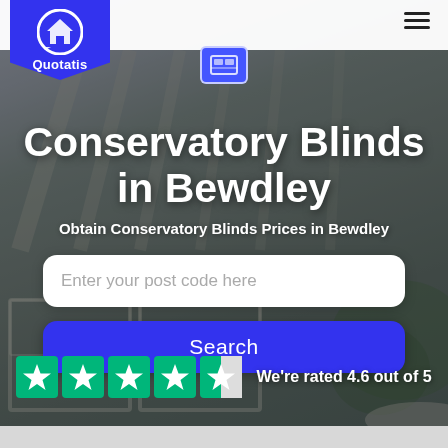[Figure (screenshot): Quotatis website screenshot showing conservatory interior background with header navigation, logo, main title, search box, search button, and Trustpilot rating]
Quotatis
Conservatory Blinds in Bewdley
Obtain Conservatory Blinds Prices in Bewdley
Enter your post code here
Search
We're rated 4.6 out of 5